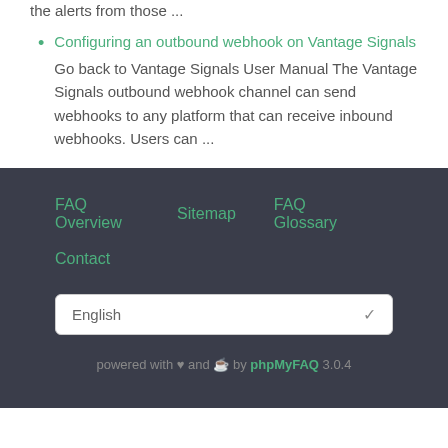the alerts from those ...
Configuring an outbound webhook on Vantage Signals
Go back to Vantage Signals User Manual The Vantage Signals outbound webhook channel can send webhooks to any platform that can receive inbound webhooks. Users can ...
FAQ Overview  Sitemap  FAQ Glossary  Contact  English  powered with ♥ and ☕ by phpMyFAQ 3.0.4